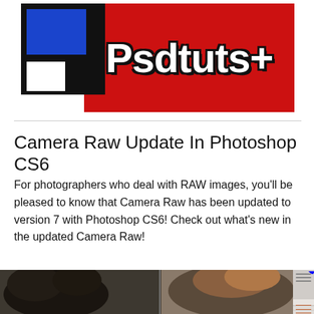[Figure (logo): Psdtuts+ logo with black box containing blue and white rectangles on left, red banner with white bold Psdtuts+ text on right]
Camera Raw Update In Photoshop CS6
For photographers who deal with RAW images, you'll be pleased to know that Camera Raw has been updated to version 7 with Photoshop CS6! Check out what's new in the updated Camera Raw!
[Figure (screenshot): Screenshot showing a gorilla photo being edited in Photoshop Camera Raw, with a before/after split view and Camera Raw panel showing White Balance, Temperature, and Tint controls on the right]